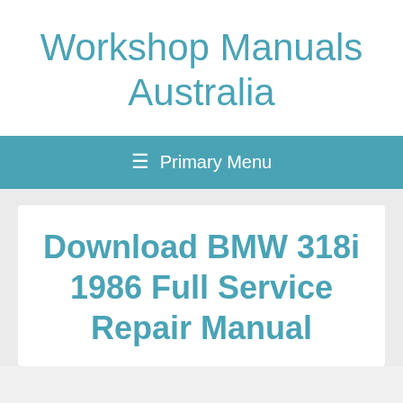Workshop Manuals Australia
≡ Primary Menu
Download BMW 318i 1986 Full Service Repair Manual